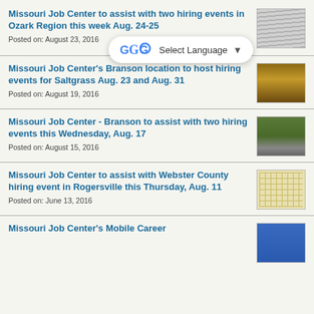Missouri Job Center to assist with two hiring events in Ozark Region this week Aug. 24-25
Posted on: August 23, 2016
Missouri Job Center's Branson location to host hiring events for Saltgrass Aug. 23 and Aug. 31
Posted on: August 19, 2016
Missouri Job Center - Branson to assist with two hiring events this Wednesday, Aug. 17
Posted on: August 15, 2016
Missouri Job Center to assist with Webster County hiring event in Rogersville this Thursday, Aug. 11
Posted on: June 13, 2016
Missouri Job Center's Mobile Career